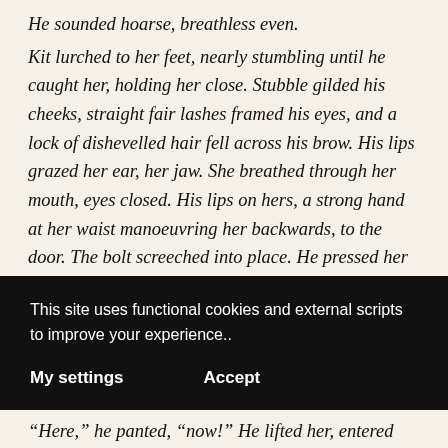He sounded hoarse, breathless even.
Kit lurched to her feet, nearly stumbling until he caught her, holding her close. Stubble gilded his cheeks, straight fair lashes framed his eyes, and a lock of dishevelled hair fell across his brow. His lips grazed her ear, her jaw. She breathed through her mouth, eyes closed. His lips on hers, a strong hand at her waist manoeuvring her backwards, to the door. The bolt screeched into place. He pressed her against the door and she moaned into his
This site uses functional cookies and external scripts to improve your experience..
My settings
Accept
“Here,” he panted, “now!” He lifted her, entered her, and